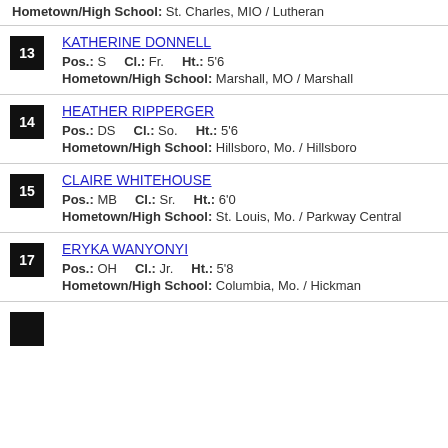Hometown/High School: St. Charles, MIO / Lutheran
13 KATHERINE DONNELL — Pos.: S   Cl.: Fr.   Ht.: 5'6   Hometown/High School: Marshall, MO / Marshall
14 HEATHER RIPPERGER — Pos.: DS   Cl.: So.   Ht.: 5'6   Hometown/High School: Hillsboro, Mo. / Hillsboro
15 CLAIRE WHITEHOUSE — Pos.: MB   Cl.: Sr.   Ht.: 6'0   Hometown/High School: St. Louis, Mo. / Parkway Central
17 ERYKA WANYONYI — Pos.: OH   Cl.: Jr.   Ht.: 5'8   Hometown/High School: Columbia, Mo. / Hickman